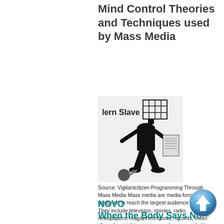Mind Control Theories and Techniques used by Mass Media
[Figure (illustration): Silhouette of a person with a birdcage as a head, chained to a ball, reading a newspaper. Text 'lern Slave' visible. Black and white illustration.]
Source: Vigilantcitizen Programming Through Mass Media Mass media are media forms designed to reach the largest audience possible. They include television, movies, radio, newspapers, magazines, books, records, video games and the internet.
NOVO
When the Body Says No – Caring for ourselves while
[Figure (illustration): Blue circular up-arrow button icon in bottom right corner.]